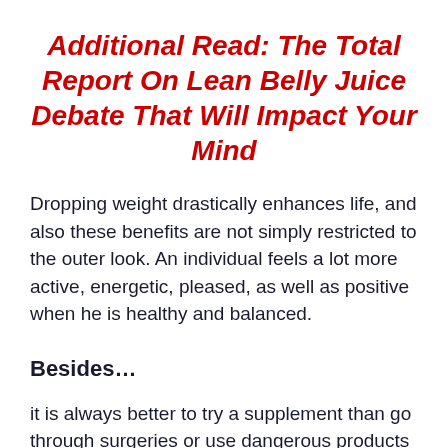Additional Read: The Total Report On Lean Belly Juice Debate That Will Impact Your Mind
Dropping weight drastically enhances life, and also these benefits are not simply restricted to the outer look. An individual feels a lot more active, energetic, pleased, as well as positive when he is healthy and balanced.
Besides…
it is always better to try a supplement than go through surgeries or use dangerous products made with chemicals. Now, the weight-loss market has thousands of thousands of products, yet just a